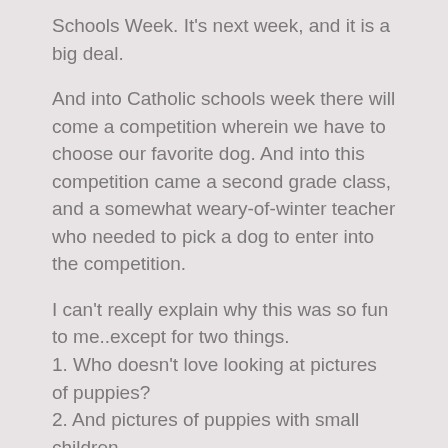Schools Week. It's next week, and it is a big deal.
And into Catholic schools week there will come a competition wherein we have to choose our favorite dog. And into this competition came a second grade class, and a somewhat weary-of-winter teacher who needed to pick a dog to enter into the competition.
I can't really explain why this was so fun to me..except for two things.
1. Who doesn't love looking at pictures of puppies?
2. And pictures of puppies with small children.
But.
The thing was.
It wasn't really a fair choice.
When I started to tell Maggie the story on the way to